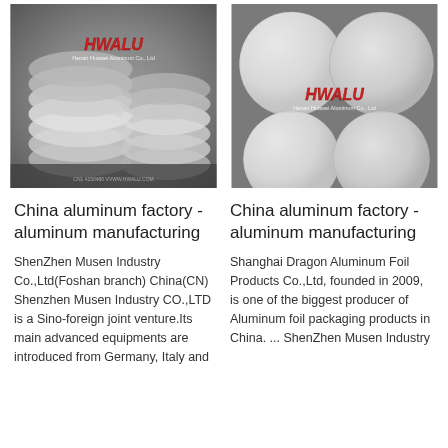[Figure (photo): Photo of stacked aluminum circles/discs in a factory setting with HWALU (Henan Huawei Aluminum Co., Ltd) logo watermark]
[Figure (photo): Photo of stacked polished aluminum circles/discs closeup with HWALU (Henan Huawei Aluminum Co., Ltd) logo watermark]
China aluminum factory - aluminum manufacturing
ShenZhen Musen Industry Co.,Ltd(Foshan branch) China(CN) Shenzhen Musen Industry CO.,LTD is a Sino-foreign joint venture.Its main advanced equipments are introduced from Germany, Italy and
China aluminum factory - aluminum manufacturing
Shanghai Dragon Aluminum Foil Products Co.,Ltd, founded in 2009, is one of the biggest producer of Aluminum foil packaging products in China. ... ShenZhen Musen Industry